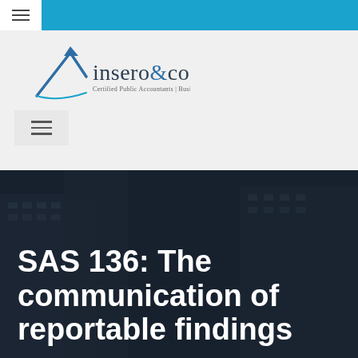[Figure (logo): Insero & Co. logo with stylized arrow graphic and tagline 'Certified Public Accountants | Business Advisors']
SAS 136: The communication of reportable findings